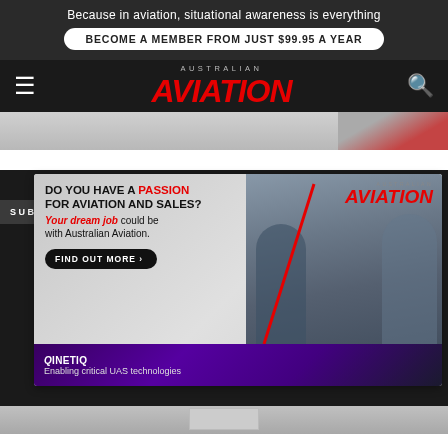Because in aviation, situational awareness is everything
BECOME A MEMBER FROM JUST $99.95 A YEAR
[Figure (logo): Australian Aviation magazine logo — red italic AVIATION with AUSTRALIAN above in small caps on dark background]
[Figure (photo): Partial article image showing people shaking hands with red diagonal accent]
SUBS
[Figure (infographic): Australian Aviation job advertisement. Headline: DO YOU HAVE A PASSION FOR AVIATION AND SALES? Your dream job could be with Australian Aviation. Find Out More button. Photo of two professionals. Australian Aviation logo top right. QinetiQ banner at bottom: Enabling critical UAS technologies.]
DO YOU HAVE A PASSION FOR AVIATION AND SALES?
Your dream job could be with Australian Aviation.
FIND OUT MORE
QINETIQ
Enabling critical UAS technologies